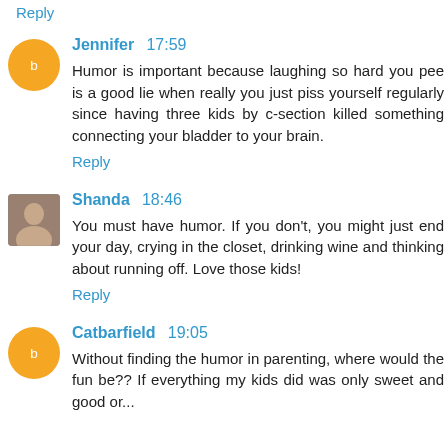Reply
Jennifer 17:59
Humor is important because laughing so hard you pee is a good lie when really you just piss yourself regularly since having three kids by c-section killed something connecting your bladder to your brain.
Reply
Shanda 18:46
You must have humor. If you don't, you might just end your day, crying in the closet, drinking wine and thinking about running off. Love those kids!
Reply
Catbarfield 19:05
Without finding the humor in parenting, where would the fun be?? If everything my kids did was only sweet and good or...